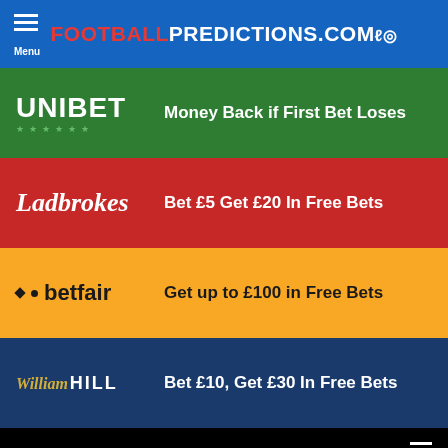FOOTBALLPREDICTIONS.COM
UNIBET — Money Back if First Bet Loses
Ladbrokes — Bet £5 Get £20 In Free Bets
betfair — Get up to £100 in Free Bets
William Hill — Bet £10, Get £30 In Free Bets
bwin — Receive up to £10 Money Back
New Customers Only, T&C's Apply, 18+ | BeGambleAware.org